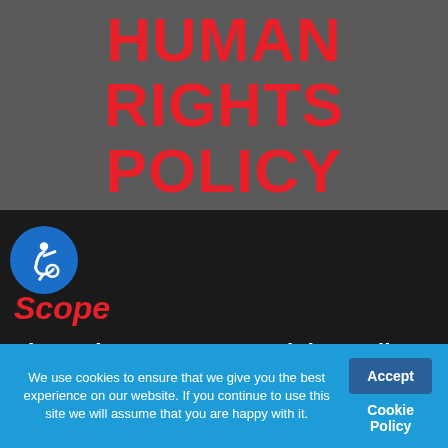HUMAN RIGHTS POLICY
Scope
The Weiss-Aug Human Rights Policy applies to our company and its subsidiaries and may also extend to our suppliers and partners
We use cookies to ensure that we give you the best experience on our website. If you continue to use this site we will assume that you are happy with it.
Accept
Cookie Policy